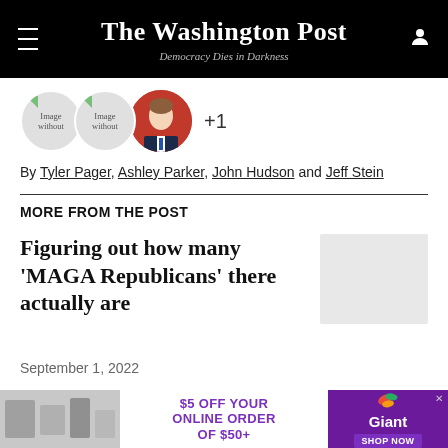The Washington Post — Democracy Dies in Darkness
[Figure (photo): Author avatars row: two image-without-alt placeholders and one photo of a man in a suit, plus +1 indicator]
By Tyler Pager, Ashley Parker, John Hudson and Jeff Stein
MORE FROM THE POST
Figuring out how many ‘MAGA Republicans’ there actually are
September 1, 2022
[Figure (photo): Advertisement: $5 OFF YOUR ONLINE ORDER OF $50+ — Giant grocery store ad with SHOP NOW button]